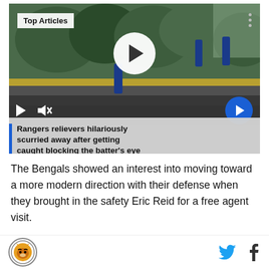[Figure (screenshot): Embedded video player showing baseball players on a field. Has 'Top Articles' badge top-left, three dots top-right, large white play button in center, bottom control bar with play/mute icons and blue arrow button, and a caption overlay with blue left border reading 'Rangers relievers hilariously scurried away after getting caught blocking the batter's eye']
The Bengals showed an interest into moving toward a more modern direction with their defense when they brought in the safety Eric Reid for a free agent visit.
Logo | Twitter | Facebook